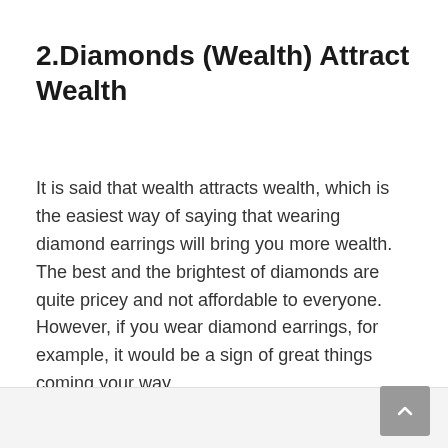2.Diamonds (Wealth) Attract Wealth
It is said that wealth attracts wealth, which is the easiest way of saying that wearing diamond earrings will bring you more wealth. The best and the brightest of diamonds are quite pricey and not affordable to everyone. However, if you wear diamond earrings, for example, it would be a sign of great things coming your way.